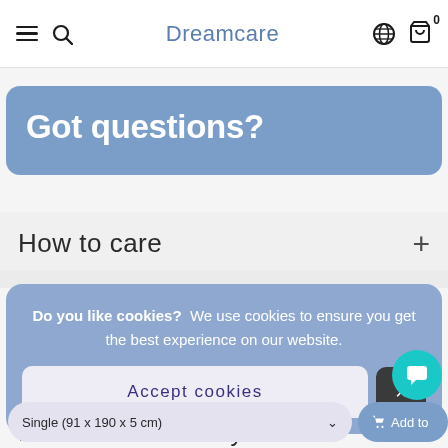Dreamcare
Got questions?
How to care
Do you like cookies?  We use cookies to ensure you get the best experience on our website.
Accept cookies
Recommended for you
Single (91 x 190 x 5 cm)
Add to